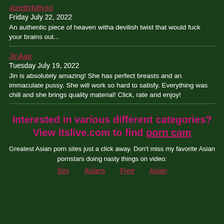xprettykittyxo
Friday July 22, 2022
An authentic piece of heaven witha devilish twist that would fuck your brains out...
JinAae
Tuesday July 19, 2022
Jin is absolutely amazing! She has perfect breasts and an immaculate pussy. She will work so hard to satisfy. Everything was chill and she brings quality material! Click, rate and enjoy!
Interested in various different categories? View Itslive.com to find porn cam
Greatest Asian porn sites just a click away. Don't miss my favorite Asian pornstars doing nasty things on video:
Sex   Asians   Free   Asian